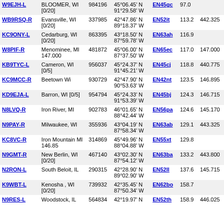| Callsign | Location | ID | Coordinates | Grid | Dist | Freq |
| --- | --- | --- | --- | --- | --- | --- |
| W9EJH-L | BLOOMER, WI [0/20] | 984196 | 45°06.45' N 91°29.58' W | EN45gc | 97.0 |  |
| WB9RSQ-R | Evansville, WI [0/20] | 337985 | 42°47.86' N 89°18.37' W | EN52it | 113.2 | 442.325 |
| KC9ONY-L | Cedarburg, WI [0/20] | 863395 | 43°18.50' N 87°59.78' W | EN63ah | 116.9 |  |
| W8PIF-R | Menominee, MI 147.000 | 481872 | 45°06.00' N 87°37.50' W | EN65ec | 117.0 | 147.000 |
| KB9TYC-L | Cameron, WI [0/5] | 956037 | 45°24.37' N 91°45.21' W | EN45cj | 118.8 | 440.775 |
| KC9MCC-R | Beetown Wi | 930729 | 42°47.90' N 90°53.63' W | EN42nt | 123.5 | 146.895 |
| KD9EJA-L | Barron, WI [0/5] | 954794 | 45°24.33' N 91°53.39' W | EN45bj | 124.3 | 146.715 |
| N8LVQ-R | Iron River, MI | 902783 | 46°01.65' N 88°42.44' W | EN56pa | 124.6 | 145.170 |
| N9PAY-R | Milwaukee, WI | 355936 | 43°04.19' N 87°58.34' W | EN63ab | 129.1 | 443.325 |
| KC8VC-R | Iron Mountain MI 146.85 | 314869 | 45°49.96' N 88°04.88' W | EN55xt | 129.8 |  |
| N9GMT-R | New Berlin, WI [0/20] | 467140 | 43°02.30' N 87°54.12' W | EN63ba | 133.2 | 443.800 |
| N2RON-L | South Beloit, IL | 290315 | 42°28.90' N 89°02.90' W | EN52ll | 137.6 | 145.715 |
| K9WBT-L | Kenosha , WI [0/20] | 739932 | 42°35.45' N 87°50.34' W | EN62bo | 158.7 |  |
| N9RES-L | Woodstock, IL | 564834 | 42°19.97' N | EN52th | 158.9 | 446.025 |